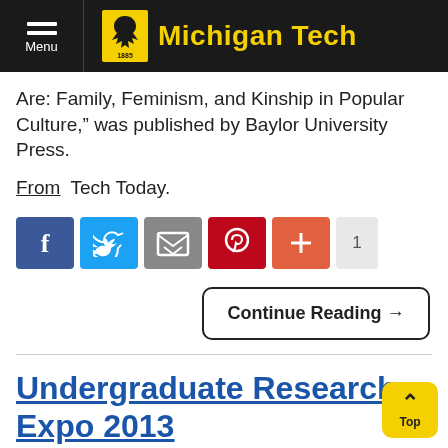Michigan Tech
Are: Family, Feminism, and Kinship in Popular Culture," was published by Baylor University Press.
From Tech Today.
[Figure (screenshot): Social sharing buttons: Facebook, Twitter, Email, Pinterest, Plus with count 1]
Continue Reading →
Undergraduate Research Expo 2013